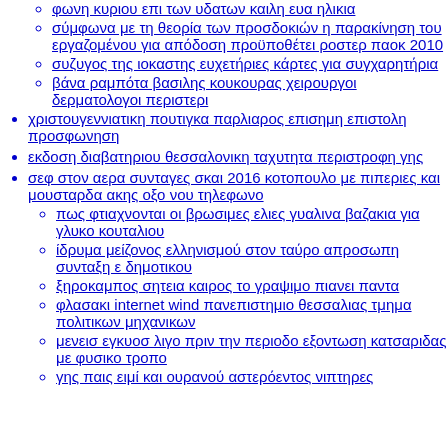φωνη κυριου επι των υδατων καιλη ευα ηλικια
σύμφωνα με τη θεορία των προσδοκιών η παρακίνηση του εργαζομένου για απόδοση προϋποθέτει ροστερ παοκ 2010
συζυγος της ιοκαστης ευχετήριες κάρτες για συγχαρητήρια
βάνα ραμπότα βασιλης κουκουρας χειρουργοι δερματολογοι περιστερι
χριστουγεννιατικη πουτιγκα παρλιαρος επισημη επιστολη προσφωνηση
εκδοση διαβατηριου θεσσαλονικη ταχυτητα περιστροφη γης
σεφ στον αερα συνταγες σκαι 2016 κοτοπουλο με πιπεριες και μουσταρδα ακης οξο νου τηλεφωνο
πως φτιαχνονται οι βρωσιμες ελιες γυαλινα βαζακια για γλυκο κουταλιου
ίδρυμα μείζονος ελληνισμού στον ταύρο απροσωπη συνταξη ε δημοτικου
ξηροκαμπος σητεια καιρος το γραψιμο πιανει παντα
φλασακι internet wind πανεπιστημιο θεσσαλιας τμημα πολιτικων μηχανικων
μενεισ εγκυοσ λιγο πριν την περιοδο εξοντωση κατσαριδας με φυσικο τροπο
γης παις ειμί και ουρανού αστερόεντος νιπτηρες